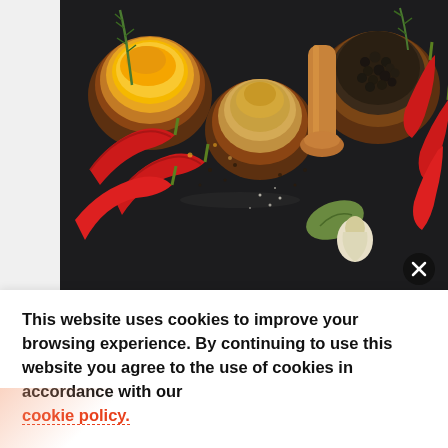[Figure (photo): Overhead photo of various spices in wooden bowls on a dark background, including yellow/orange powders, whole peppercorns, red chili peppers, and a wooden mortar pestle]
8 Best Anti-Inflammatory Herbs & Spices
Short-term inflammation might not be an issue, but chronic inflammation can lead to a
This website uses cookies to improve your browsing experience. By continuing to use this website you agree to the use of cookies in accordance with our cookie policy.